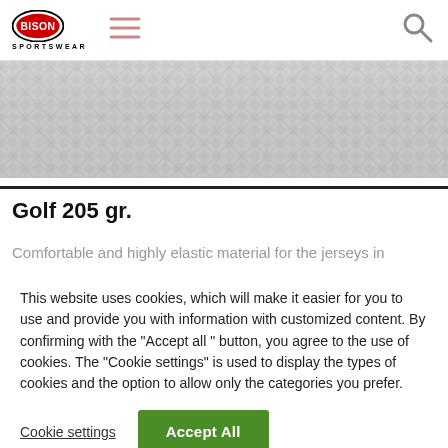BISON SPORTSWEAR
[Figure (photo): Close-up of grey woven fabric texture for sportswear jersey material]
Golf 205 gr.
Comfortable and highly elastic material for the jerseys in
This website uses cookies, which will make it easier for you to use and provide you with information with customized content. By confirming with the "Accept all " button, you agree to the use of cookies. The "Cookie settings" is used to display the types of cookies and the option to allow only the categories you prefer.
Cookie settings
Accept All